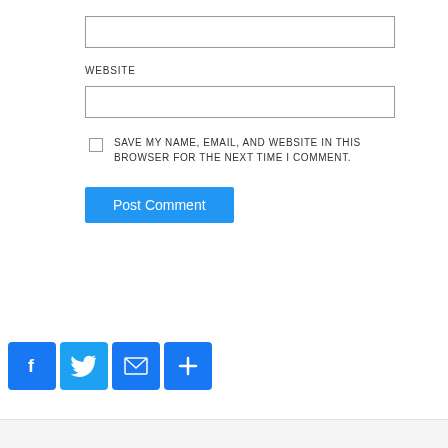[Figure (screenshot): An input text field (empty) at the top of a comment form section]
WEBSITE
[Figure (screenshot): A website URL input text field (empty)]
SAVE MY NAME, EMAIL, AND WEBSITE IN THIS BROWSER FOR THE NEXT TIME I COMMENT.
[Figure (screenshot): Post Comment button — blue rounded rectangle button]
[Figure (infographic): Social share icons: Facebook (blue f), Twitter (blue bird), Email (blue envelope), Share more (blue plus)]
[Figure (screenshot): Bottom partial white/grey box area]